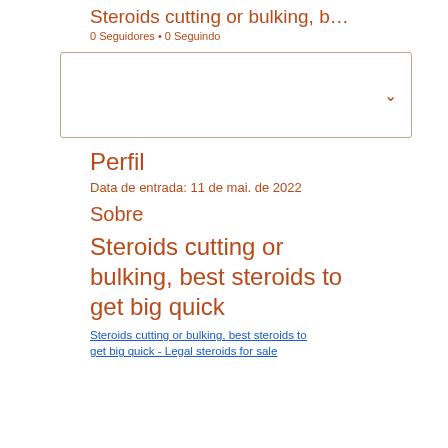Steroids cutting or bulking, b…
0 Seguidores • 0 Seguindo
[Figure (other): Dropdown/input box with chevron icon]
Perfil
Data de entrada: 11 de mai. de 2022
Sobre
Steroids cutting or bulking, best steroids to get big quick
Steroids cutting or bulking, best steroids to get big quick - Legal steroids for sale